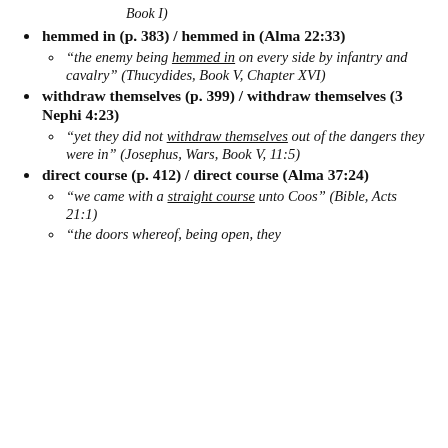Book I)
hemmed in (p. 383) / hemmed in (Alma 22:33)
“the enemy being hemmed in on every side by infantry and cavalry” (Thucydides, Book V, Chapter XVI)
withdraw themselves (p. 399) / withdraw themselves (3 Nephi 4:23)
“yet they did not withdraw themselves out of the dangers they were in” (Josephus, Wars, Book V, 11:5)
direct course (p. 412) / direct course (Alma 37:24)
“we came with a straight course unto Coos” (Bible, Acts 21:1)
“the doors whereof, being open, they…